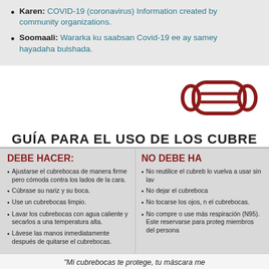Karen: COVID-19 (coronavirus) Information created by community organizations.
Soomaali: Wararka ku saabsan Covid-19 ee ay samey hayadaha bulshada.
[Figure (illustration): Icon of a face mask (cubrebocas) in dark red outline on white background]
GUÍA PARA EL USO DE LOS CUBRE
DEBE HACER:
Ajustarse el cubrebocas de manera firme pero cómoda contra los lados de la cara.
Cúbrase su nariz y su boca.
Use un cubrebocas limpio.
Lavar los cubrebocas con agua caliente y secarlos a una temperatura alta.
Lávese las manos inmediatamente después de quitarse el cubrebocas.
NO DEBE HA
No reutilice el cubreb lo vuelva a usar sin lav
No dejar el cubreboca
No tocarse los ojos, n el cubrebocas.
No compre o use más respiración (N95). Este reservarse para proteg miembros del persona
"Mi cubrebocas te protege, tu máscara me
– Comisionada Jan Malcolm, (MDH) Departamento de Salu
ramseycounty.us/coronavirus